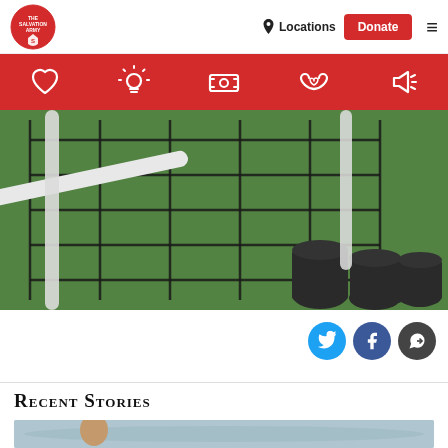The Salvation Army — Locations | Donate | Menu
[Figure (infographic): Red navigation bar with five white icons: heart, light bulb, dollar bill, hands holding heart, megaphone]
[Figure (photo): Outdoor photo showing wire mesh fence/cage structure over green grass with black plastic pots in the corner]
[Figure (infographic): Social sharing buttons: Twitter (blue circle), Facebook (dark blue circle), Share/forward (dark grey circle)]
Recent Stories
[Figure (photo): Bottom strip showing person in or near water, likely a pool or lake scene]